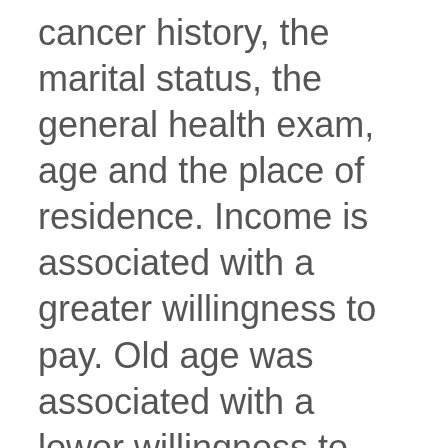cancer history, the marital status, the general health exam, age and the place of residence. Income is associated with a greater willingness to pay. Old age was associated with a lower willingness to pay. CONCLUSIONS: According to the two-part model, income and TTM are the most important variables...